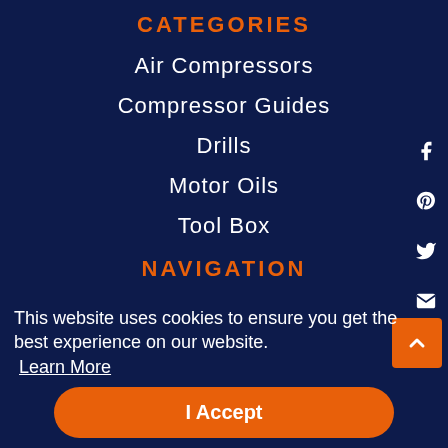CATEGORIES
Air Compressors
Compressor Guides
Drills
Motor Oils
Tool Box
NAVIGATION
This website uses cookies to ensure you get the best experience on our website.
Learn More
I Accept